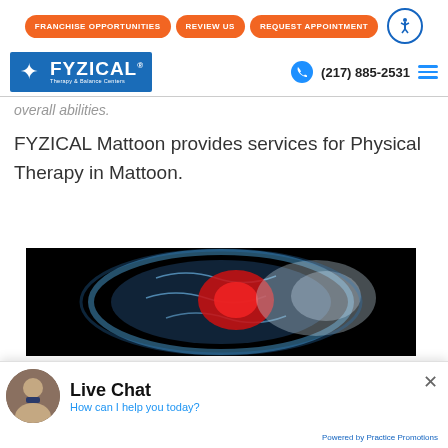FRANCHISE OPPORTUNITIES | REVIEW US | REQUEST APPOINTMENT
[Figure (logo): FYZICAL Therapy & Balance Centers logo with blue background, white figure and text]
(217) 885-2531
overall abilities.
FYZICAL Mattoon provides services for Physical Therapy in Mattoon.
[Figure (photo): Medical illustration of a human brain scan with red highlighted area, on black background]
Live Chat
How can I help you today?
Powered by Practice Promotions